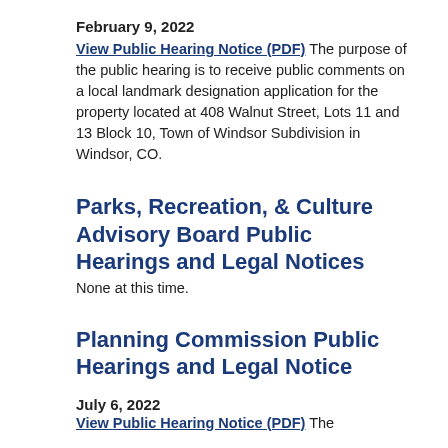February 9, 2022
View Public Hearing Notice (PDF) The purpose of the public hearing is to receive public comments on a local landmark designation application for the property located at 408 Walnut Street, Lots 11 and 13 Block 10, Town of Windsor Subdivision in Windsor, CO.
Parks, Recreation, & Culture Advisory Board Public Hearings and Legal Notices
None at this time.
Planning Commission Public Hearings and Legal Notice
July 6, 2022
View Public Hearing Notice (PDF) The